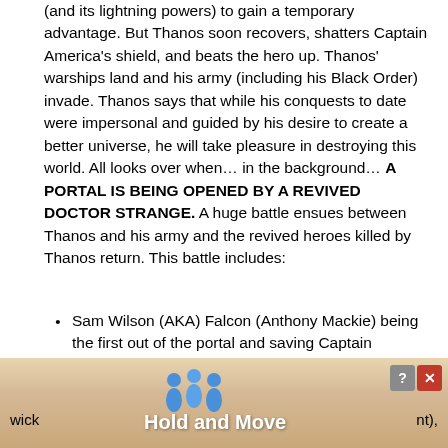(and its lightning powers) to gain a temporary advantage. But Thanos soon recovers, shatters Captain America's shield, and beats the hero up. Thanos' warships land and his army (including his Black Order) invade. Thanos says that while his conquests to date were impersonal and guided by his desire to create a better universe, he will take pleasure in destroying this world. All looks over when… in the background… A PORTAL IS BEING OPENED BY A REVIVED DOCTOR STRANGE. A huge battle ensues between Thanos and his army and the revived heroes killed by Thanos return. This battle includes:
Sam Wilson (AKA) Falcon (Anthony Mackie) being the first out of the portal and saving Captain America.
[Figure (screenshot): Mobile game advertisement banner showing 'Hold and Move' with colorful figures, close/question buttons, and partial text on sides reading 'wick' and 'nt),']